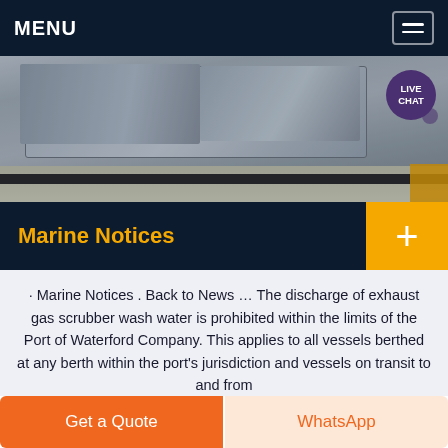MENU
[Figure (photo): Industrial port equipment photograph showing large grey metal containers or machinery on a concrete dock floor with a yellow safety stripe visible on the right.]
Marine Notices
· Marine Notices . Back to News … The discharge of exhaust gas scrubber wash water is prohibited within the limits of the Port of Waterford Company. This applies to all vessels berthed at any berth within the port's jurisdiction and vessels on transit to and from
Get a Quote | WhatsApp